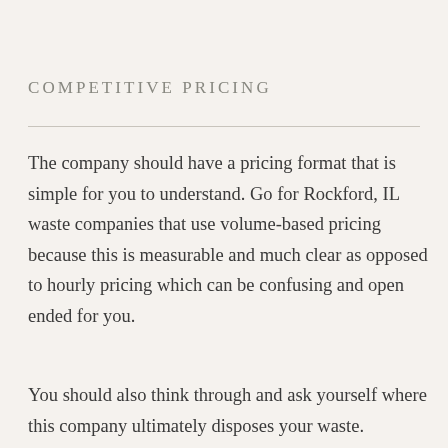COMPETITIVE PRICING
The company should have a pricing format that is simple for you to understand. Go for Rockford, IL waste companies that use volume-based pricing because this is measurable and much clear as opposed to hourly pricing which can be confusing and open ended for you.
You should also think through and ask yourself where this company ultimately disposes your waste.